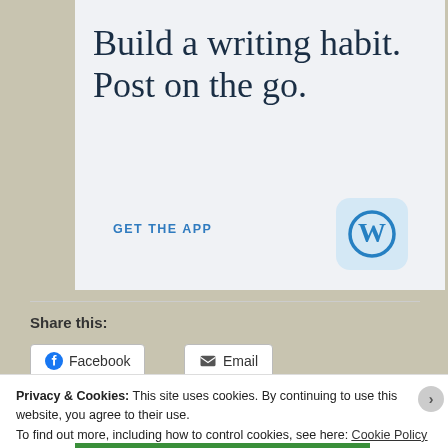Build a writing habit. Post on the go.
GET THE APP
[Figure (logo): WordPress logo icon in blue on a light blue rounded rectangle background]
Share this:
Facebook  Email
Privacy & Cookies: This site uses cookies. By continuing to use this website, you agree to their use.
To find out more, including how to control cookies, see here: Cookie Policy
Close and accept